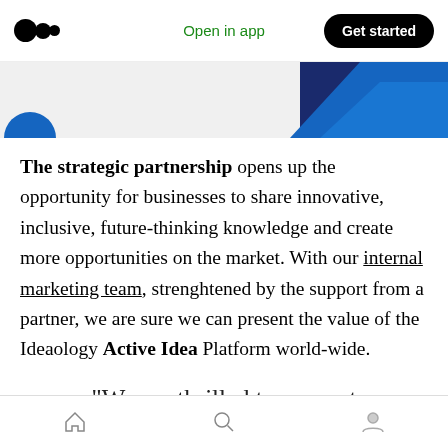Open in app | Get started
[Figure (screenshot): Partial image showing a blue and dark graphic element at the top of the article]
The strategic partnership opens up the opportunity for businesses to share innovative, inclusive, future-thinking knowledge and create more opportunities on the market. With our internal marketing team, strenghtened by the support from a partner, we are sure we can present the value of the Ideaology Active Idea Platform world-wide.
“We are thrilled to support
Home | Search | Profile